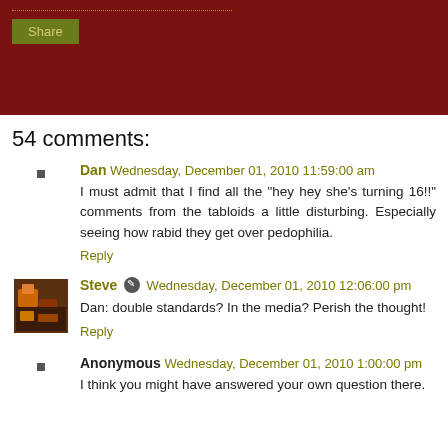[Figure (screenshot): Dark maroon header bar with a dotted line and a Share button]
54 comments:
Dan Wednesday, December 01, 2010 11:59:00 am
I must admit that I find all the "hey hey she's turning 16!!" comments from the tabloids a little disturbing. Especially seeing how rabid they get over pedophilia.
Reply
Steve Wednesday, December 01, 2010 12:06:00 pm
Dan: double standards? In the media? Perish the thought!
Reply
Anonymous Wednesday, December 01, 2010 1:00:00 pm
I think you might have answered your own question there.